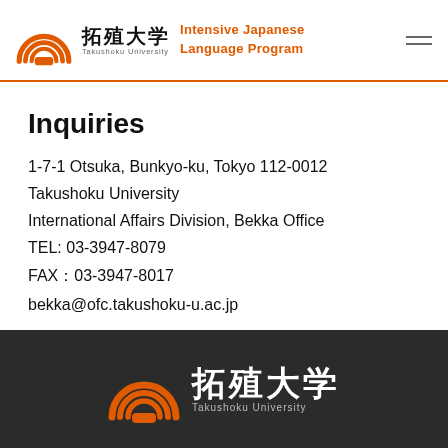拓殖大学 Takushoku University — Intensive Japanese Language Program
Inquiries
1-7-1 Otsuka, Bunkyo-ku, Tokyo 112-0012
Takushoku University
International Affairs Division, Bekka Office
TEL: 03-3947-8079
FAX：03-3947-8017
bekka@ofc.takushoku-u.ac.jp
[Figure (logo): Takushoku University footer logo with rainbow arc icon, Japanese kanji 拓殖大学, and Takushoku University text on dark background]